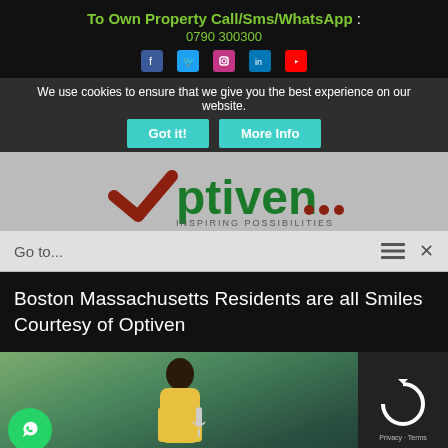To Own Property Call/Sms/WhatsApp : 0790 300300
We use cookies to ensure that we give you the best experience on our website.
[Figure (logo): Optiven logo with checkmark and tagline INSPIRING POSSIBILITIES]
Go to...
Boston Massachusetts Residents are all Smiles Courtesy of Optiven
[Figure (photo): Photo of person speaking at an event, with other people visible in background]